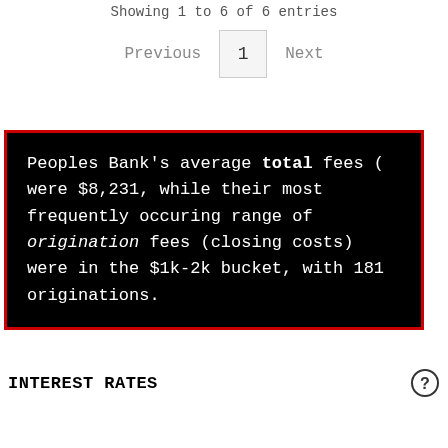Showing 1 to 6 of 6 entries
Previous  1  Next
Peoples Bank's average total fees ( were $8,231, while their most frequently occuring range of origination fees (closing costs) were in the $1k-2k bucket, with 181 originations.
INTEREST RATES